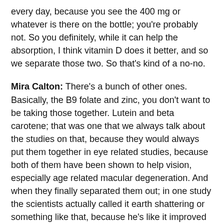every day, because you see the 400 mg or whatever is there on the bottle; you're probably not. So you definitely, while it can help the absorption, I think vitamin D does it better, and so we separate those two. So that's kind of a no-no.
Mira Calton: There's a bunch of other ones. Basically, the B9 folate and zinc, you don't want to be taking those together. Lutein and beta carotene; that was one that we always talk about the studies on that, because they would always put them together in eye related studies, because both of them have been shown to help vision, especially age related macular degeneration. And when they finally separated them out; in one study the scientists actually called it earth shattering or something like that, because he's like it improved their eyesight 76% of the time. Just separating those two micronutrients.
Diane Sanfilippo: Yeah...